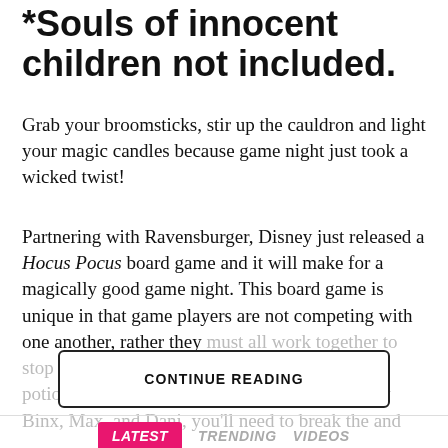*Souls of innocent children not included.
Grab your broomsticks, stir up the cauldron and light your magic candles because game night just took a wicked twist!
Partnering with Ravensburger, Disney just released a Hocus Pocus board game and it will make for a magically good game night. This board game is unique in that game players are not competing with one another, rather they must all work together to stop the Sanderson sisters from completing their potion before sunrise. With the help of [faded text continues]
CONTINUE READING
LATEST   TRENDING   VIDEOS